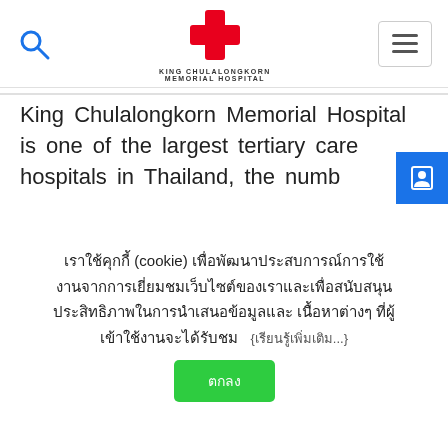[Figure (logo): King Chulalongkorn Memorial Hospital logo with red cross and text]
King Chulalongkorn Memorial Hospital is one of the largest tertiary care hospitals in Thailand, the numb
เราใช้คุกกี้ (cookie) เพื่อพัฒนาประสบการณ์การใช้งานจากการเยี่ยมชมเว็บไซต์ของเราและเพื่อสนับสนุนประสิทธิภาพในการนำเสนอข้อมูลและ เนื้อหาต่างๆ ที่ผู้เข้าใช้งานจะได้รับชม {เรียนรู้เพิ่มเติม...}